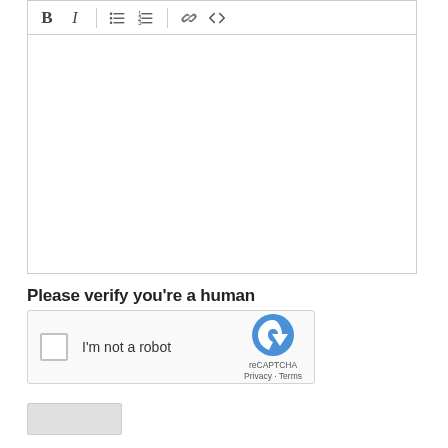[Figure (screenshot): Rich text editor toolbar with Bold (B), Italic (I), unordered list, ordered list, link, and code icons, followed by an empty text editor body area]
Please verify you're a human
[Figure (other): Google reCAPTCHA widget with checkbox, 'I'm not a robot' label, and reCAPTCHA logo with Privacy and Terms links]
[Figure (other): Submit/send button (greyed out)]